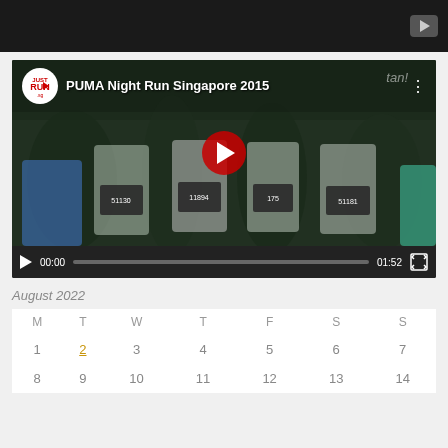[Figure (screenshot): Dark top navigation bar with a YouTube play button icon in the top right corner]
[Figure (screenshot): YouTube video player showing 'PUMA Night Run Singapore 2015' with JustRunLah logo, group of runners in race bibs, red play button center, controls showing 00:00 / 01:52]
August 2022
| M | T | W | T | F | S | S |
| --- | --- | --- | --- | --- | --- | --- |
| 1 | 2 | 3 | 4 | 5 | 6 | 7 |
| 8 | 9 | 10 | 11 | 12 | 13 | 14 |